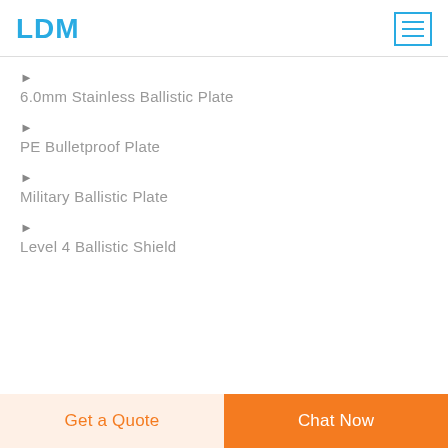LDM
6.0mm Stainless Ballistic Plate
PE Bulletproof Plate
Military Ballistic Plate
Level 4 Ballistic Shield